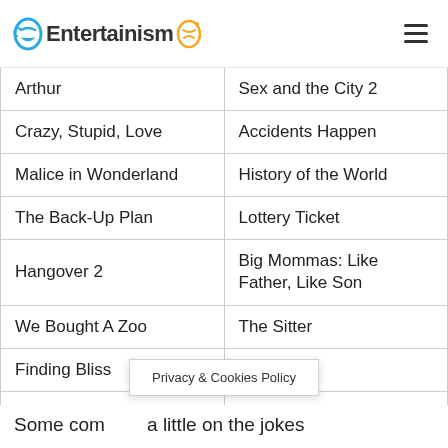Entertainism
| Arthur | Sex and the City 2 |
| Crazy, Stupid, Love | Accidents Happen |
| Malice in Wonderland | History of the World |
| The Back-Up Plan | Lottery Ticket |
| Hangover 2 | Big Mommas: Like Father, Like Son |
| We Bought A Zoo | The Sitter |
| Finding Bliss | You Again |
| Bridesmaids | The Change-Up |
| Life As We Know It | The Skank Robbers |
Privacy & Cookies Policy
Some com...a little on the jokes